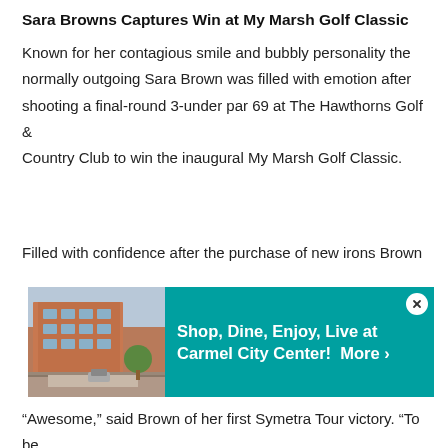Sara Browns Captures Win at My Marsh Golf Classic
Known for her contagious smile and bubbly personality the normally outgoing Sara Brown was filled with emotion after shooting a final-round 3-under par 69 at The Hawthorns Golf & Country Club to win the inaugural My Marsh Golf Classic.
Filled with confidence after the purchase of new irons Brown
[Figure (photo): Advertisement banner for Carmel City Center showing a street-level photo of a brick building shopping area with text: Shop, Dine, Enjoy, Live at Carmel City Center! More ›]
“Awesome,” said Brown of her first Symetra Tour victory. “To be honest I guess you should go into every tournament thinking you are going to win but this one is on a new golf course and I was just ready to play. I got some new wedges in the bag and I just hit them good, hit my drives good and the greens were amazing.”